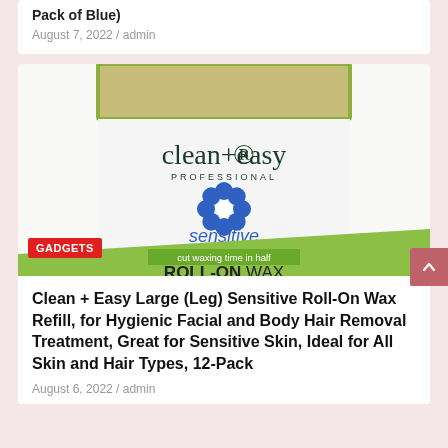Pack of Blue)
August 7, 2022 / admin
[Figure (photo): Clean+Easy Professional Sensitive Roll-On Wax product packaging showing the brand logo, a blue flower icon, 'sensitive' text, 'cut waxing time in half' tagline, and 'ROLL-ON WAX Large Wax Cartridge' label]
Clean + Easy Large (Leg) Sensitive Roll-On Wax Refill, for Hygienic Facial and Body Hair Removal Treatment, Great for Sensitive Skin, Ideal for All Skin and Hair Types, 12-Pack
August 6, 2022 / admin